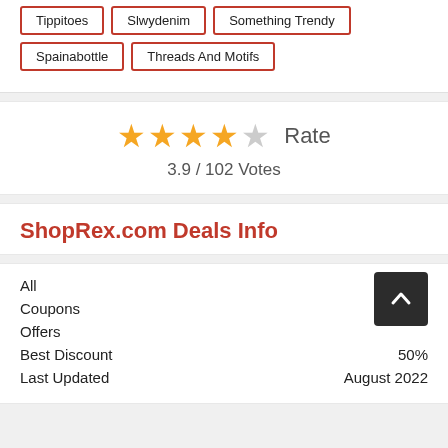Tippitoes
Slwydenim
Something Trendy
Spainabottle
Threads And Motifs
★★★★☆ Rate
3.9 / 102 Votes
ShopRex.com Deals Info
|  |  |
| --- | --- |
| All | 6 |
| Coupons |  |
| Offers |  |
| Best Discount | 50% |
| Last Updated | August 2022 |